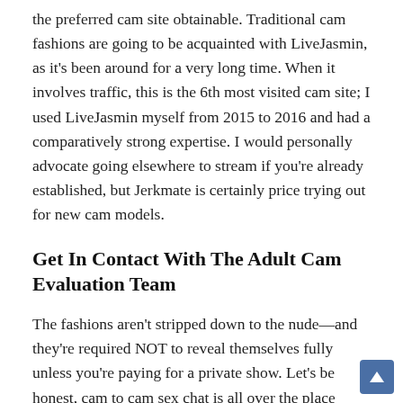the preferred cam site obtainable. Traditional cam fashions are going to be acquainted with LiveJasmin, as it's been around for a very long time. When it involves traffic, this is the 6th most visited cam site; I used LiveJasmin myself from 2015 to 2016 and had a comparatively strong expertise. I would personally advocate going elsewhere to stream if you're already established, but Jerkmate is certainly price trying out for new cam models.
Get In Contact With The Adult Cam Evaluation Team
The fashions aren't stripped down to the nude—and they're required NOT to reveal themselves fully unless you're paying for a private show. Let's be honest, cam to cam sex chat is all over the place today and most well-liked over free porn tube sites. So, right here is our adult webcam information infographic